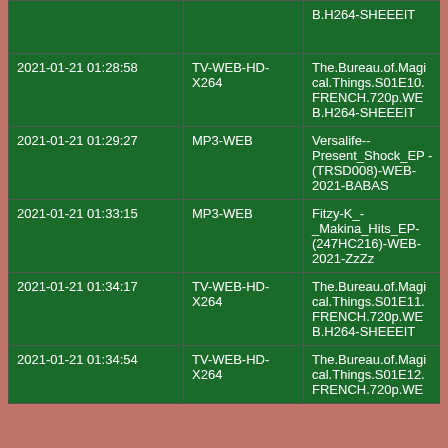|  |  | B.H264-SHEEEIT |
| 2021-01-21 01:28:58 | TV-WEB-HD-X264 | The.Bureau.of.Magical.Things.S01E10.FRENCH.720p.WEB.H264-SHEEEIT |
| 2021-01-21 01:29:27 | MP3-WEB | Versalife--Present_Shock_EP-(TRSD008)-WEB-2021-BABAS |
| 2021-01-21 01:33:15 | MP3-WEB | Fitzy-K_-_Makina_Hits_EP-(247HC216)-WEB-2021-ZzZz |
| 2021-01-21 01:34:17 | TV-WEB-HD-X264 | The.Bureau.of.Magical.Things.S01E11.FRENCH.720p.WEB.H264-SHEEEIT |
| 2021-01-21 01:34:54 | TV-WEB-HD-X264 | The.Bureau.of.Magical.Things.S01E12.FRENCH.720p.WE |